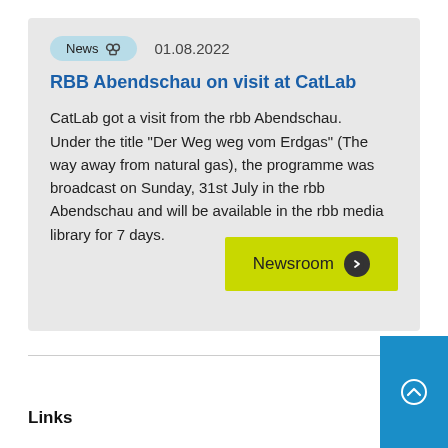News  01.08.2022
RBB Abendschau on visit at CatLab
CatLab got a visit from the rbb Abendschau.
Under the title "Der Weg weg vom Erdgas" (The way away from natural gas), the programme was broadcast on Sunday, 31st July in the rbb Abendschau and will be available in the rbb media library for 7 days.
Newsroom →
Links